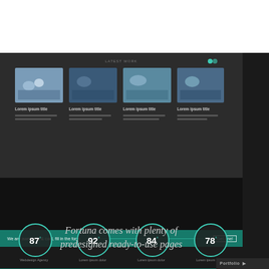[Figure (screenshot): Screenshot of a website portfolio section showing four thumbnail images of people working on laptops in a dark-themed grid layout]
Our Portfolio is Awesome
[Figure (infographic): Four circular stat indicators showing percentages: 87°, 92°, 84°, 78°]
Fortuna comes with plenty of predesigned ready-to-use pages